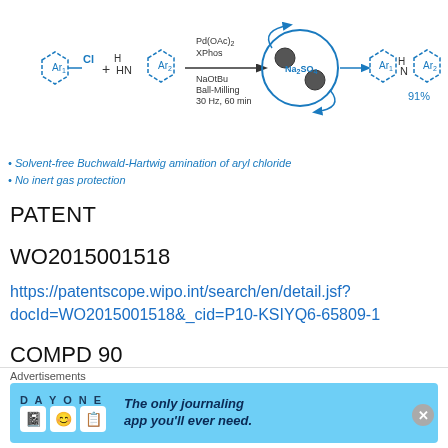[Figure (schematic): Reaction scheme showing Buchwald-Hartwig amination of aryl chloride. Ar1-CH2Cl + HN(H)(Ar2) react with Pd(OAc)2, XPhos, NaOtBu, Ball-Milling, 30 Hz, 60 min using Na2SO4 as drying agent to give Ar1-N(H)-Ar2 in 91% yield.]
Solvent-free Buchwald-Hartwig amination of aryl chloride
No inert gas protection
PATENT
WO2015001518
https://patentscope.wipo.int/search/en/detail.jsf?docId=WO2015001518&_cid=P10-KSIYQ6-65809-1
COMPD 90
| Ex | Characterizations |
| --- | --- |
| 86 | 1H NMR (300 MHz, CDCl3) δ 7.93 (d, J = 8.9, 1H), 7.83 (d, J = 8.3, 1H), 7.70 (d, J = 12.0, 1H), 7.61 (dd, J = 7.9, 18.1, 2H), 7.32 (d, J = 7.9, 1H), 7.31 – 7.25 (m, 1H) |
[Figure (advertisement): Day One journaling app advertisement banner]